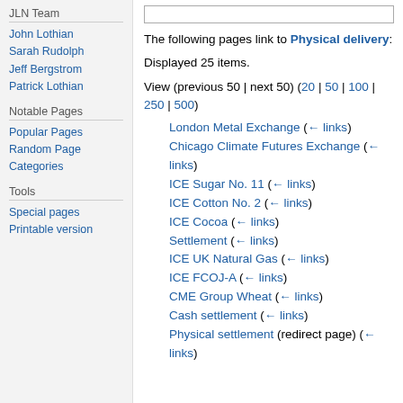JLN Team
John Lothian
Sarah Rudolph
Jeff Bergstrom
Patrick Lothian
Notable Pages
Popular Pages
Random Page
Categories
Tools
Special pages
Printable version
The following pages link to Physical delivery:
Displayed 25 items.
View (previous 50 | next 50) (20 | 50 | 100 | 250 | 500)
London Metal Exchange  (← links)
Chicago Climate Futures Exchange  (← links)
ICE Sugar No. 11  (← links)
ICE Cotton No. 2  (← links)
ICE Cocoa  (← links)
Settlement  (← links)
ICE UK Natural Gas  (← links)
ICE FCOJ-A  (← links)
CME Group Wheat  (← links)
Cash settlement  (← links)
Physical settlement (redirect page) (← links)